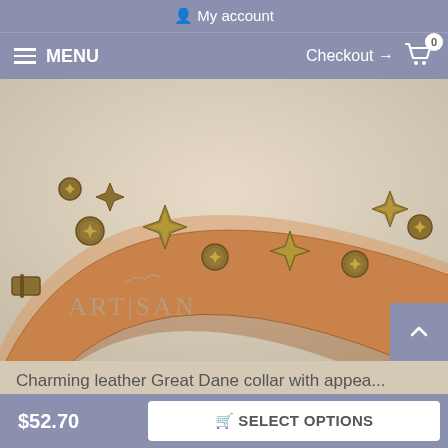My account
MENU   Checkout → 🛒 0
[Figure (photo): Close-up photo of a tan leather Great Dane collar with brass star-shaped studs and round star embossed rivets. The collar curves across the frame on a light background. The Artisan brand watermark is visible in the lower left of the image.]
Charming leather Great Dane collar with appea...
$52.70
SELECT OPTIONS